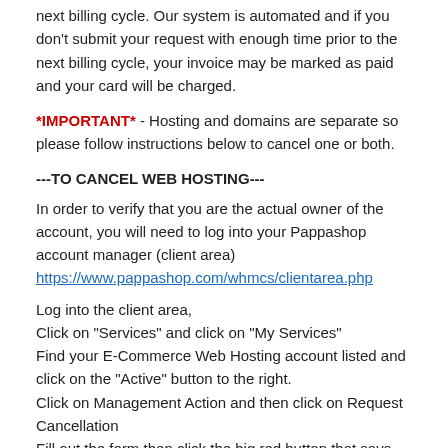next billing cycle. Our system is automated and if you don't submit your request with enough time prior to the next billing cycle, your invoice may be marked as paid and your card will be charged.
*IMPORTANT* - Hosting and domains are separate so please follow instructions below to cancel one or both.
---TO CANCEL WEB HOSTING---
In order to verify that you are the actual owner of the account, you will need to log into your Pappashop account manager (client area) https://www.pappashop.com/whmcs/clientarea.php
Log into the client area,
Click on "Services" and click on "My Services"
Find your E-Commerce Web Hosting account listed and click on the "Active" button to the right.
Click on Management Action and then click on Request Cancellation
Fill out the form then click the big red button that says "Request Cancellation"
---TO CANCEL YOUR DOMAIN---